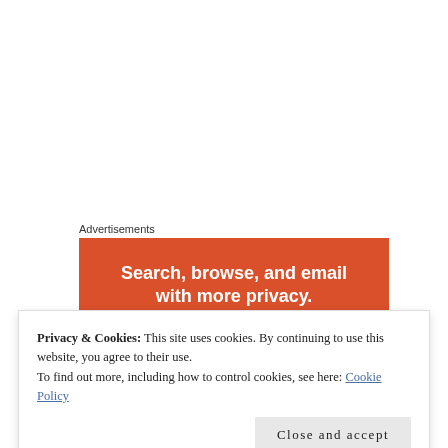Advertisements
[Figure (illustration): DuckDuckGo advertisement banner with orange background. Headline: 'Search, browse, and email with more privacy.' Subheading button: 'All in One Free App' in italic bold with white rounded pill shape. Bottom dark strip with 'DuckDuckGo.' in white italic text.]
Privacy & Cookies: This site uses cookies. By continuing to use this website, you agree to their use.
To find out more, including how to control cookies, see here: Cookie Policy
Close and accept